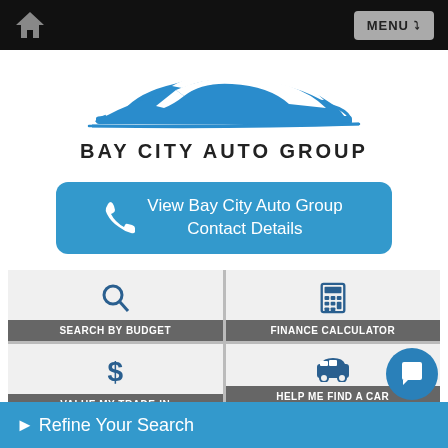Home | MENU
[Figure (logo): Bay City Auto Group logo with blue car silhouette and text BAY CITY AUTO GROUP]
[Figure (other): Blue rounded button with phone icon and text: View Bay City Auto Group Contact Details]
[Figure (other): 2x2 grid of navigation buttons: SEARCH BY BUDGET (search icon), FINANCE CALCULATOR (calculator icon), VALUE MY TRADE-IN (dollar sign icon), HELP ME FIND A CAR (car icon)]
▶ Refine Your Search